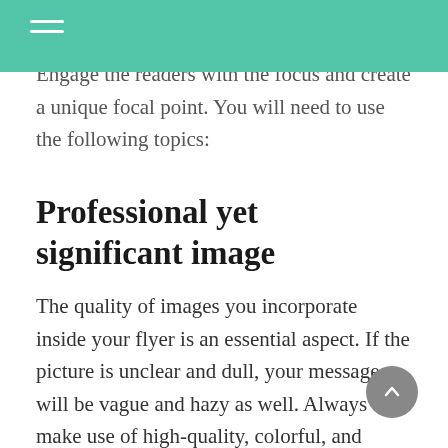Engage the readers with the focus and create a unique focal point. You will need to use the following topics:
Professional yet significant image
The quality of images you incorporate inside your flyer is an essential aspect. If the picture is unclear and dull, your message will be vague and hazy as well. Always make use of high-quality, colorful, and crystal-clear images that can grab attention, support your story, and create a mood—using an image as the focus can effectively make users pay close